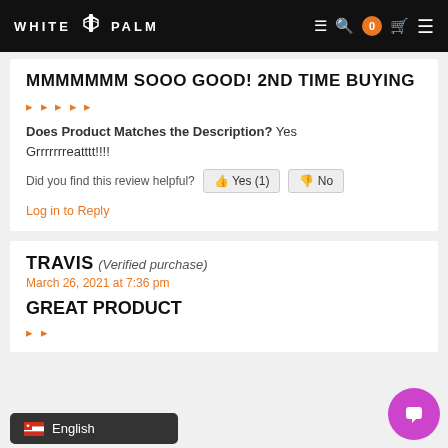WHITE PALM
MMMMMMM SOOO GOOD! 2ND TIME BUYING
Does Product Matches the Description? Yes
Grrrrrrreatttt!!!!
Did you find this review helpful? Yes (1) No
Log in to Reply
TRAVIS (Verified purchase)
March 26, 2021 at 7:36 pm
GREAT PRODUCT